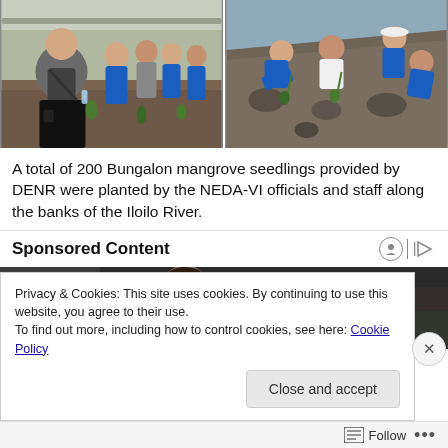[Figure (photo): Two photos side by side showing people in blue shirts planting mangrove seedlings along a riverbank. Left photo shows a larger man in grey shirt smiling in front, with group planting. Right photo shows people bent over planting on a rocky slope near water.]
A total of 200 Bungalon mangrove seedlings provided by DENR were planted by the NEDA-VI officials and staff along the banks of the Iloilo River.
Sponsored Content
[Figure (photo): Partial view of an advertisement image showing a person in a suit lying or leaning, blurred background.]
Privacy & Cookies: This site uses cookies. By continuing to use this website, you agree to their use.
To find out more, including how to control cookies, see here: Cookie Policy
Follow ...